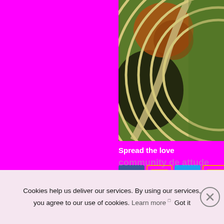[Figure (photo): Aerial view of a park or athletic area showing concentric circular paths/tracks on the right and green/brown vegetation/terrain on the left, photographed from above.]
Spread the love
[Figure (infographic): Row of social sharing icon buttons: Facebook (blue), Tumblr (magenta/orange border), Twitter (light blue), Tumblr (magenta/orange border), and a plus/more button (orange).]
Cookies help us deliver our services. By using our services, you agree to our use of cookies. Learn more  Got it